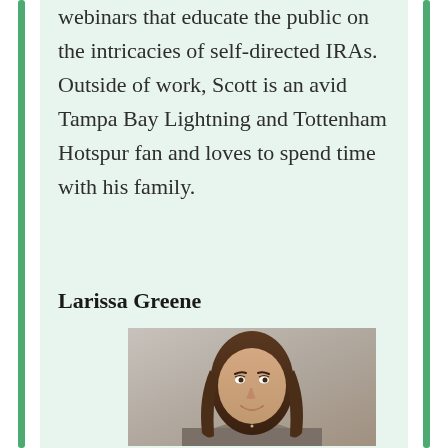webinars that educate the public on the intricacies of self-directed IRAs. Outside of work, Scott is an avid Tampa Bay Lightning and Tottenham Hotspur fan and loves to spend time with his family.
Larissa Greene
[Figure (photo): Professional headshot of Larissa Greene, a young woman with long dark brown hair, smiling, wearing a gray top, photographed against a neutral gray background.]